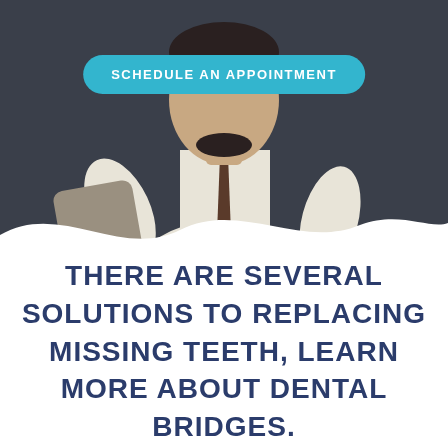[Figure (photo): Photo of a man in white shirt and dark tie against a dark gray background, upper body visible]
SCHEDULE AN APPOINTMENT
THERE ARE SEVERAL SOLUTIONS TO REPLACING MISSING TEETH, LEARN MORE ABOUT DENTAL BRIDGES.